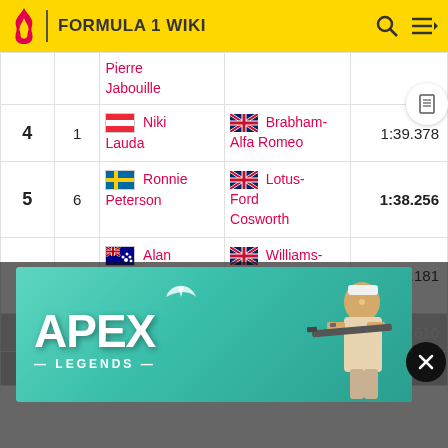FORMULA 1 WIKI
| Pos | No | Driver | Team | Time |
| --- | --- | --- | --- | --- |
|  |  | Pierre Jabouille |  |  |
| 4 | 1 | Niki Lauda | Brabham-Alfa Romeo | 1:39.378 |
| 5 | 6 | Ronnie Peterson | Lotus-Ford Cosworth | 1:38.256 |
| 6 | 27 | Alan Jones | Williams-Ford Cosworth | 1:39.181 |
| 7 |  |  |  | 8.610 |
| 8 | 26 |  | Ligier- | 1:39.195 |
[Figure (screenshot): Apex Legends advertisement banner overlaid on the page]